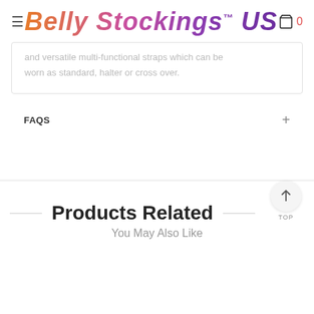Belly Stockings™ US
and versatile multi-functional straps which can be worn as standard, halter or cross over.
FAQS
Products Related
You May Also Like